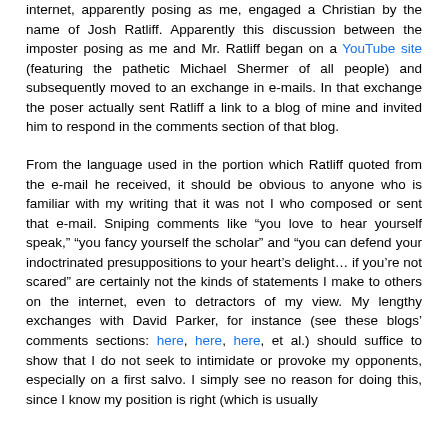internet, apparently posing as me, engaged a Christian by the name of Josh Ratliff. Apparently this discussion between the imposter posing as me and Mr. Ratliff began on a YouTube site (featuring the pathetic Michael Shermer of all people) and subsequently moved to an exchange in e-mails. In that exchange the poser actually sent Ratliff a link to a blog of mine and invited him to respond in the comments section of that blog.
From the language used in the portion which Ratliff quoted from the e-mail he received, it should be obvious to anyone who is familiar with my writing that it was not I who composed or sent that e-mail. Sniping comments like “you love to hear yourself speak,” “you fancy yourself the scholar” and “you can defend your indoctrinated presuppositions to your heart's delight… if you're not scared” are certainly not the kinds of statements I make to others on the internet, even to detractors of my view. My lengthy exchanges with David Parker, for instance (see these blogs’ comments sections: here, here, here, et al.) should suffice to show that I do not seek to intimidate or provoke my opponents, especially on a first salvo. I simply see no reason for doing this, since I know my position is right (which is usually